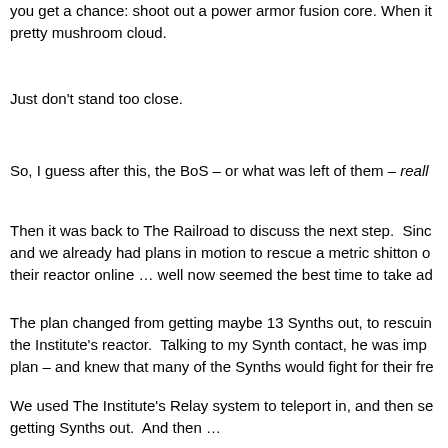you get a chance: shoot out a power armor fusion core. When it pretty mushroom cloud.
Just don't stand too close.
So, I guess after this, the BoS – or what was left of them – reall
Then it was back to The Railroad to discuss the next step. Sinc and we already had plans in motion to rescue a metric shitton o their reactor online … well now seemed the best time to take ad
The plan changed from getting maybe 13 Synths out, to rescuin the Institute's reactor. Talking to my Synth contact, he was imp plan – and knew that many of the Synths would fight for their fre
We used The Institute's Relay system to teleport in, and then se getting Synths out. And then …
Then we came to the first 'Set Piece' I've encountered in a gam battle between two sides. With the 'free' Synths and Railroader guards and Coursers on the other, it was a matter of taking a ro the next. All the while we worked towards the entrance to the re